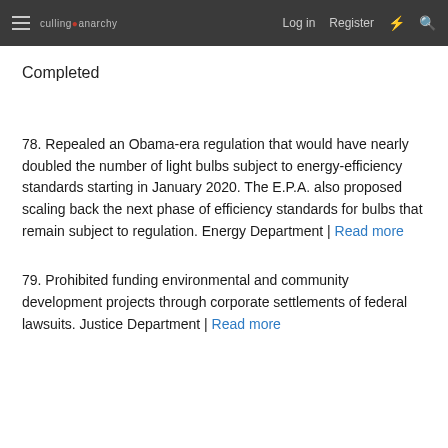culling anarchy | Log in | Register
Completed
78. Repealed an Obama-era regulation that would have nearly doubled the number of light bulbs subject to energy-efficiency standards starting in January 2020. The E.P.A. also proposed scaling back the next phase of efficiency standards for bulbs that remain subject to regulation. Energy Department | Read more
79. Prohibited funding environmental and community development projects through corporate settlements of federal lawsuits. Justice Department | Read more